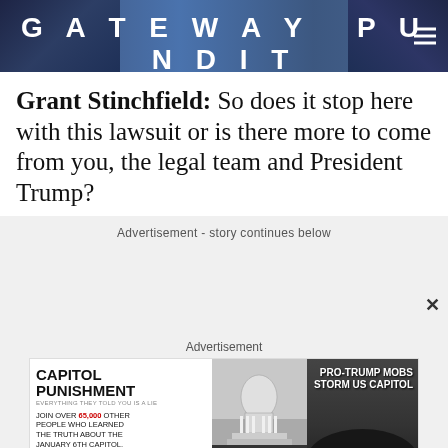[Figure (screenshot): Gateway Pundit website header with blue background, site name in large uppercase letters, tagline below, and hamburger menu icon on right]
Grant Stinchfield: So does it stop here with this lawsuit or is there more to come from you, the legal team and President Trump?
Advertisement - story continues below
Advertisement
[Figure (screenshot): Capitol Punishment advertisement with text 'JOIN OVER 65,000 OTHER PEOPLE WHO LEARNED THE TRUTH ABOUT THE JANUARY 6TH CAPITOL', Watch Now button, US Capitol building image, and headline 'PRO-TRUMP MOBS STORM US CAPITOL' with crowd image and POLICE label]